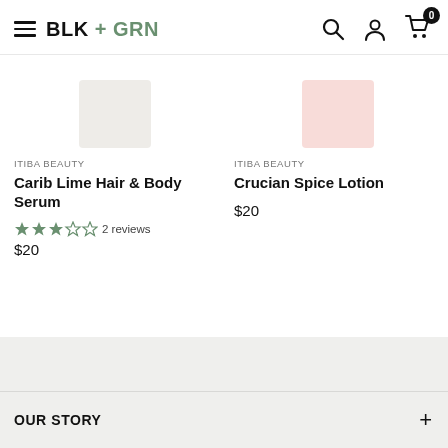BLK + GRN
ITIBA BEAUTY
Carib Lime Hair & Body Serum
2 reviews
$20
ITIBA BEAUTY
Crucian Spice Lotion
$20
OUR STORY